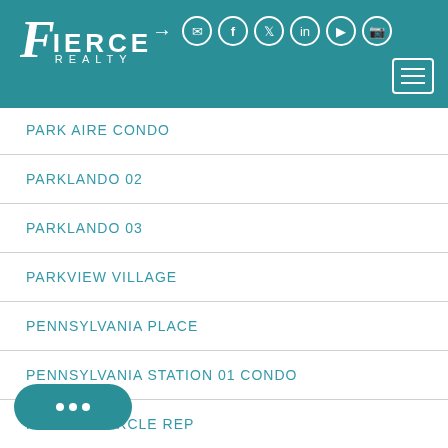[Figure (logo): Fierce Realty logo with teal header background, social media icons, and hamburger menu button]
PARK AIRE CONDO
PARKLANDO 02
PARKLANDO 03
PARKVIEW VILLAGE
PENNSYLVANIA PLACE
PENNSYLVANIA STATION 01 CONDO
PHILLIPS CIRCLE REP
PLACE WINTER PARK